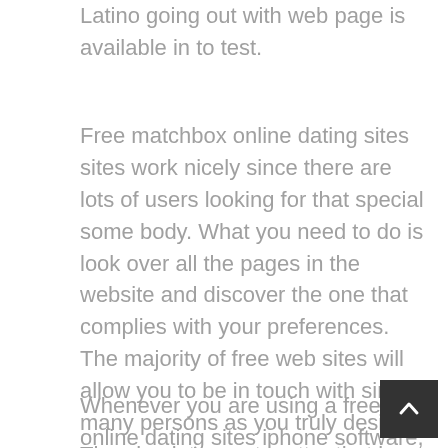Latino going out with web page is available in to test.
Free matchbox online dating sites sites work nicely since there are lots of users looking for that special some body. What you need to do is look over all the pages in the website and discover the one that complies with your preferences. The majority of free web sites will allow you to be in touch with since many persons as you truly desire. The absolute most matter that is important keep in mind with any kind of dating site is only make use of the given out version of the usb ports.
Whenever you are using a free online dating sites iphone software, you are going to need to create liberated to do